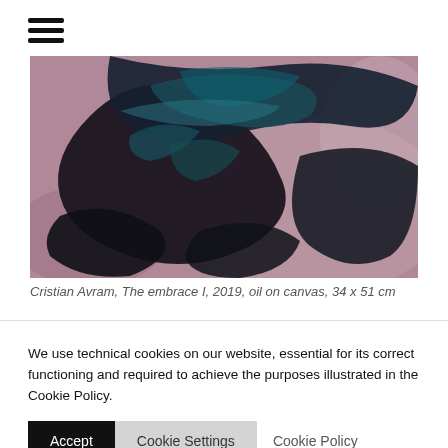[Figure (illustration): Hamburger menu icon — three horizontal black bars stacked vertically]
[Figure (photo): Abstract oil painting by Cristian Avram showing dark blue and black organic shapes with teal highlights on a muted pink/mauve background — titled 'The embrace I']
Cristian Avram, The embrace I, 2019, oil on canvas, 34 x 51 cm
We use technical cookies on our website, essential for its correct functioning and required to achieve the purposes illustrated in the Cookie Policy.
Accept  Cookie Settings  Cookie Policy